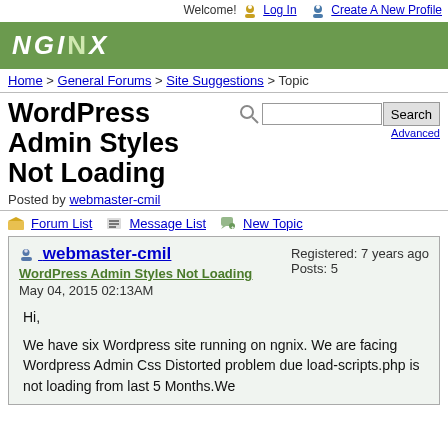Welcome! Log In Create A New Profile
[Figure (logo): NGINX green header logo]
Home > General Forums > Site Suggestions > Topic
WordPress Admin Styles Not Loading
Posted by webmaster-cmil
Forum List  Message List  New Topic
webmaster-cmil
WordPress Admin Styles Not Loading
May 04, 2015 02:13AM
Registered: 7 years ago
Posts: 5
Hi,

We have six Wordpress site running on ngnix. We are facing Wordpress Admin Css Distorted problem due load-scripts.php is not loading from last 5 Months.We